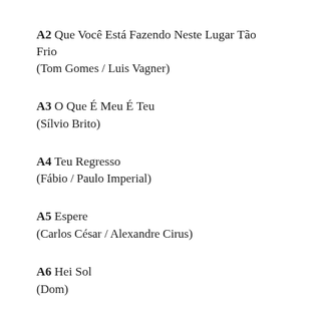A2 Que Você Está Fazendo Neste Lugar Tão Frio
(Tom Gomes / Luis Vagner)
A3 O Que É Meu É Teu
(Sílvio Brito)
A4 Teu Regresso
(Fábio / Paulo Imperial)
A5 Espere
(Carlos César / Alexandre Cirus)
A6 Hei Sol
(Dom)